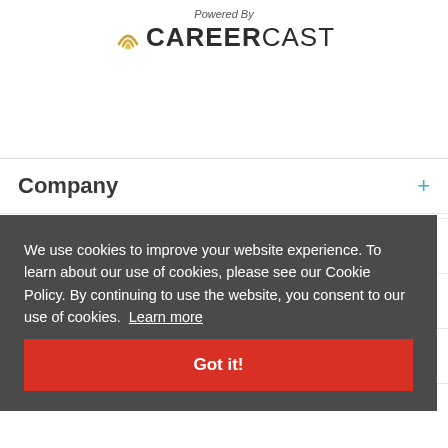Powered By
[Figure (logo): CareerCast logo with signal/wifi icon to the left of CAREERCAST text]
Company
We use cookies to improve your website experience. To learn about our use of cookies, please see our Cookie Policy. By continuing to use the website, you consent to our use of cookies.  Learn more
Got it!